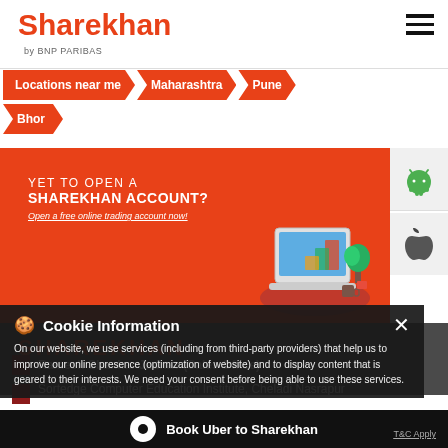Sharekhan by BNP PARIBAS
Locations near me > Maharashtra > Pune > Bhor
[Figure (screenshot): Sharekhan promotional banner - YET TO OPEN A SHAREKHAN ACCOUNT? Open a free online trading account now! With laptop/desk illustration and Android/Apple app download icons.]
SHAREKHAN
Cookie Information
On our website, we use services (including from third-party providers) that help us to improve our online presence (optimization of website) and to display content that is geared to their interests. We need your consent before being able to use these services.
Ramesh Shankar Jadhav (Sales Office)
Sortedge Computer Education Institute, Cheladi Nasrapur
Book Uber to Sharekhan   T&C Apply